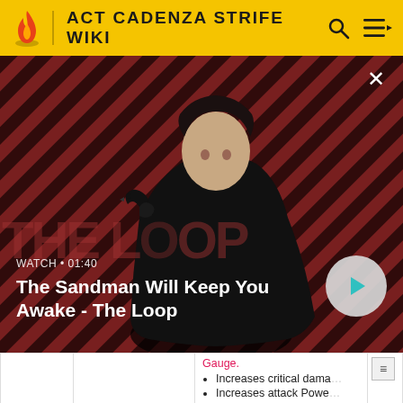ACT CADENZA STRIFE WIKI
[Figure (screenshot): Video thumbnail showing a dark figure with a raven on their shoulder against a red and dark striped background. Text overlay shows WATCH · 01:40 and title 'The Sandman Will Keep You Awake - The Loop' with a play button.]
| Icon | Name | Rank | Element | Number |
| --- | --- | --- | --- | --- |
|  |  | Gauge. | Increases critical dama... | Increases attack Powe... |
| [skill icon] | Shouha Rekkousen
燐光裂光閃 | ↑ E | Light | 11 |